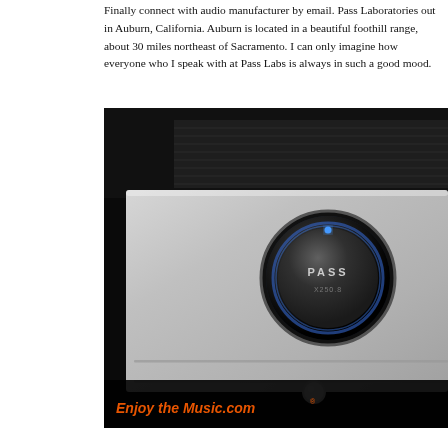Finally connect with audio manufacturer by email. Pass Laboratories out in Auburn, California. Auburn is located in a beautiful foothill range, about 30 miles northeast of Sacramento. I can only imagine how everyone who I speak with at Pass Labs is always in such a good mood.
[Figure (photo): Close-up photo of a Pass Labs X250.8 silver stereo power amplifier front panel against a dark/black background. The unit features a large circular VU meter or power meter with a blue LED indicator dot and 'PASS' branding, illuminated with a blue glow. The front panel is silver/aluminum brushed finish with horizontal groove lines. A small round button is visible at the bottom center. An 'Enjoy the Music.com' orange italic watermark overlays the lower-left portion of the image.]